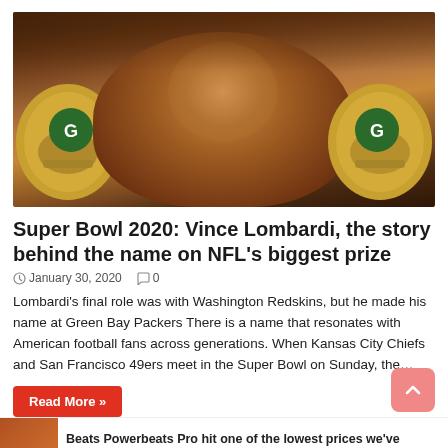[Figure (photo): Football players wearing Green Bay Packers helmets with a person in the center, warm brown/amber tones, celebratory scene]
Super Bowl 2020: Vince Lombardi, the story behind the name on NFL's biggest prize
January 30, 2020   0
Lombardi's final role was with Washington Redskins, but he made his name at Green Bay Packers There is a name that resonates with American football fans across generations. When Kansas City Chiefs and San Francisco 49ers meet in the Super Bowl on Sunday, the…
Read More »
Beats Powerbeats Pro hit one of the lowest prices we've